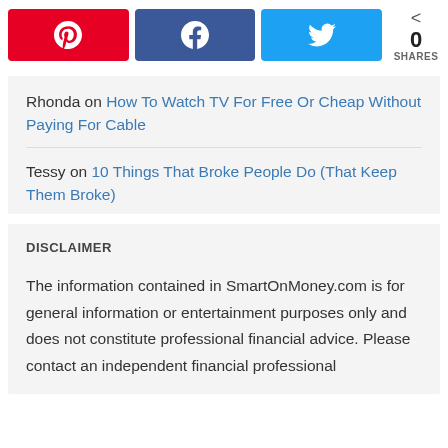[Figure (other): Social share buttons: Pinterest (red), Facebook (blue), Twitter (light blue), and a share count showing 0 SHARES]
Rhonda on How To Watch TV For Free Or Cheap Without Paying For Cable
Tessy on 10 Things That Broke People Do (That Keep Them Broke)
DISCLAIMER
The information contained in SmartOnMoney.com is for general information or entertainment purposes only and does not constitute professional financial advice. Please contact an independent financial professional